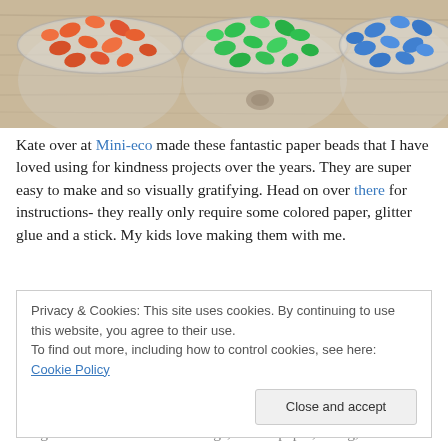[Figure (photo): Three clear bowls filled with rolled paper beads — orange/red beads in the left bowl, green beads in the center bowl, and blue beads in the right bowl — arranged on a wooden surface.]
Kate over at Mini-eco made these fantastic paper beads that I have loved using for kindness projects over the years. They are super easy to make and so visually gratifying. Head on over there for instructions- they really only require some colored paper, glitter glue and a stick. My kids love making them with me.
Privacy & Cookies: This site uses cookies. By continuing to use this website, you agree to their use.
To find out more, including how to control cookies, see here: Cookie Policy
[Close and accept]
We grabbed some clear cello bags, brown paper, string,